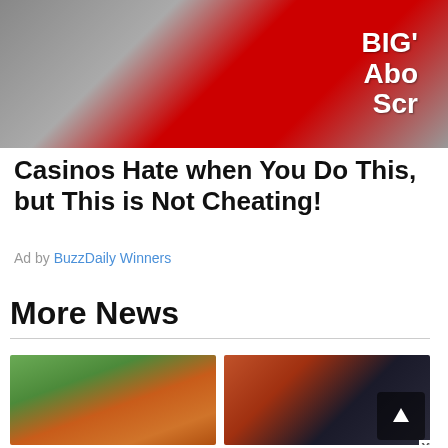[Figure (photo): Person in red shirt viewed from behind, working at a machine/console with screens. Text on shirt partially visible: 'BIG', 'Abo', 'Scr']
Casinos Hate when You Do This, but This is Not Cheating!
Ad by BuzzDaily Winners
More News
[Figure (photo): Football player in brown/orange Cleveland Browns uniform throwing a pass, green field background]
[Figure (photo): Football coach or player wearing headset and cap, with a small overlay popup showing an up-arrow scroll button and an X close button]